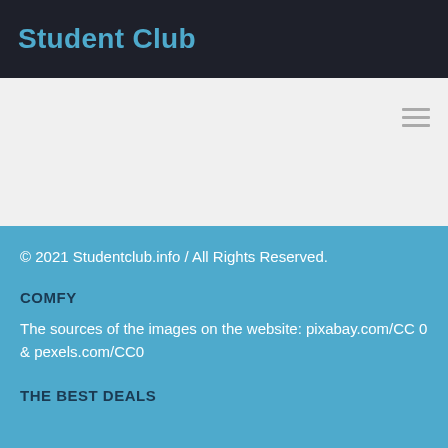Student Club
[Figure (other): Hamburger menu icon (three horizontal lines) in the light gray navigation area]
© 2021 Studentclub.info / All Rights Reserved.
COMFY
The sources of the images on the website: pixabay.com/CC 0 & pexels.com/CC0
THE BEST DEALS